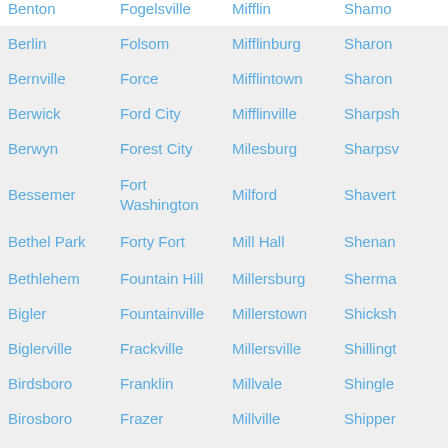| Benton | Fogelsville | Mifflin | Shamo… |
| Berlin | Folsom | Mifflinburg | Sharon |
| Bernville | Force | Mifflintown | Sharon… |
| Berwick | Ford City | Mifflinville | Sharpsh… |
| Berwyn | Forest City | Milesburg | Sharpsv… |
| Bessemer | Fort Washington | Milford | Shavert… |
| Bethel Park | Forty Fort | Mill Hall | Shenan… |
| Bethlehem | Fountain Hill | Millersburg | Sherma… |
| Bigler | Fountainville | Millerstown | Shicksh… |
| Biglerville | Frackville | Millersville | Shillingt… |
| Birdsboro | Franklin | Millvale | Shingle… |
| Birosboro | Frazer | Millville | Shipper… |
| Blairsville | Fredericksburg | Milmont Park | Shipper… |